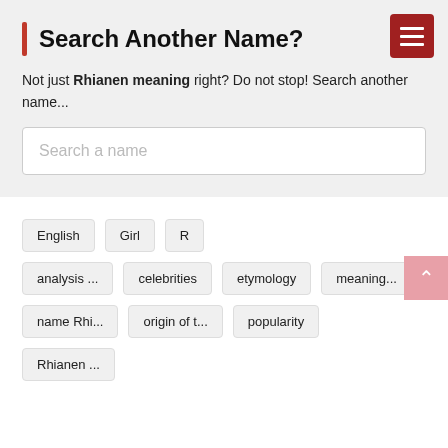Search Another Name?
Not just Rhianen meaning right? Do not stop! Search another name...
Search a name
English
Girl
R
analysis ...
celebrities
etymology
meaning...
name Rhi...
origin of t...
popularity
Rhianen ...